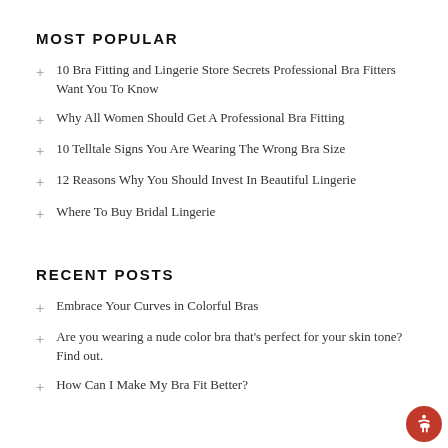MOST POPULAR
10 Bra Fitting and Lingerie Store Secrets Professional Bra Fitters Want You To Know
Why All Women Should Get A Professional Bra Fitting
10 Telltale Signs You Are Wearing The Wrong Bra Size
12 Reasons Why You Should Invest In Beautiful Lingerie
Where To Buy Bridal Lingerie
RECENT POSTS
Embrace Your Curves in Colorful Bras
Are you wearing a nude color bra that's perfect for your skin tone? Find out.
How Can I Make My Bra Fit Better?